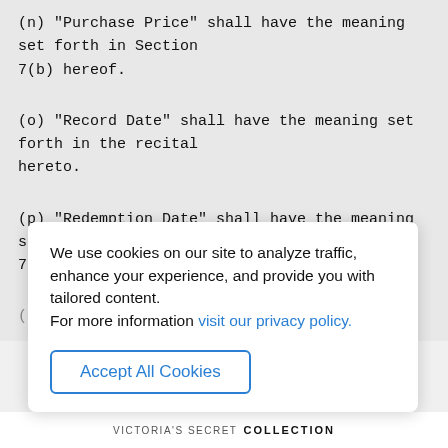(n) "Purchase Price" shall have the meaning set forth in Section 7(b) hereof.
(o) "Record Date" shall have the meaning set forth in the recital hereto.
(p) "Redemption Date" shall have the meaning set forth in Section 7(a) hereof.
(q) "Redemption Price" shall have the meanin...
We use cookies on our site to analyze traffic, enhance your experience, and provide you with tailored content. For more information visit our privacy policy.
Accept All Cookies